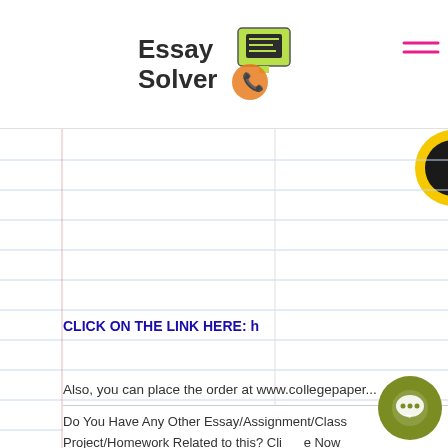[Figure (logo): Essay Solver logo with yellow-green monitor/screen icon and phone icon]
[Figure (illustration): Hamburger menu icon (three pink horizontal lines) in top right corner]
[Figure (illustration): Yellow and black circle decorative element top right, partially cropped]
[Figure (illustration): Notebook lined paper background with left red margin line]
CLICK ON THE LINK HERE:  h
Also, you can place the order at www.collegepaper...
Do You Have Any Other Essay/Assignment/Class Project/Homework Related to this? Cli__e Now [CLICK ME] and Have It Done by Our ___lified Writers!!
[Figure (illustration): Olive/dark yellow circular chat bubble icon bottom right]